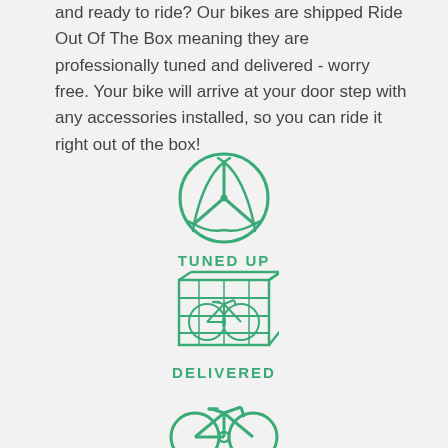and ready to ride? Our bikes are shipped Ride Out Of The Box meaning they are professionally tuned and delivered - worry free. Your bike will arrive at your door step with any accessories installed, so you can ride it right out of the box!
[Figure (illustration): Green circular icon of a bike crank/gear tuning tool with three prongs radiating from center]
TUNED UP
[Figure (illustration): Green icon of a bicycle inside a shipping crate/box]
DELIVERED
[Figure (illustration): Green line-art icon of a bicycle, partially visible at bottom of page]